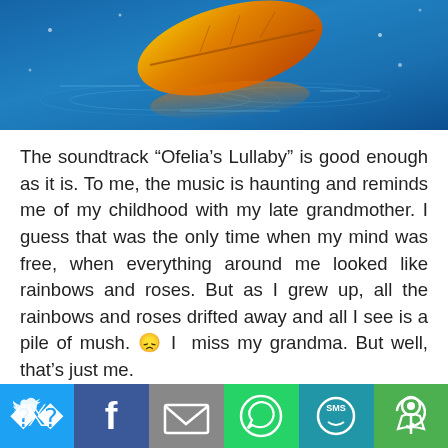[Figure (photo): A yellow-orange autumn leaf floating on blue rippled water with rain drops]
The soundtrack “Ofelia’s Lullaby” is good enough as it is. To me, the music is haunting and reminds me of my childhood with my late grandmother. I guess that was the only time when my mind was free, when everything around me looked like rainbows and roses. But as I grew up, all the rainbows and roses drifted away and all I see is a pile of mush. 😞 I miss my grandma. But well, that’s just me.
Back to the trick I was talking about. Somebody left a comment suggesting to play the soundtrack with rainy sounds at the same time and when I did, it sounded 100 times nicer. I had my headphones on, I played them both
[Figure (infographic): Social sharing bar with Twitter, Facebook, Email, WhatsApp, SMS, and More buttons]